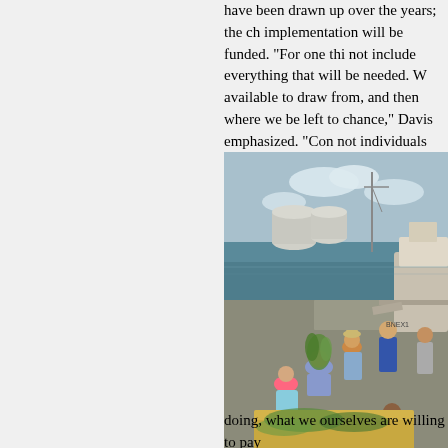have been drawn up over the years; the ch... implementation will be funded. "For one thi... not include everything that will be needed. W... available to draw from, and then where we... be left to chance," Davis emphasized. "Con... not individuals and not businesses—where... trick."
[Figure (photo): Group of volunteers on a dock near boats and industrial waterway, unloading or handling marsh grass/vegetation from a barge or container, with industrial storage tanks visible in the background.]
doing, what we ourselves are willing to pay...